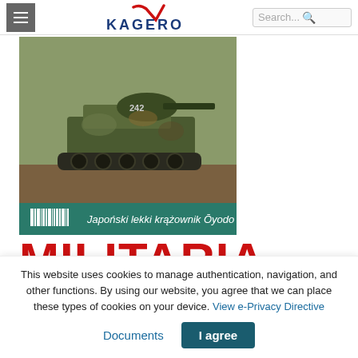[Figure (screenshot): Website header with hamburger menu icon, Kagero logo with checkmark, and search box]
[Figure (photo): Book cover for Militaria magazine showing a Japanese tank (camouflaged) with text 'Japoński lekki krążownik Ōyodo' at the bottom and large red MILITARIA text below the image]
This website uses cookies to manage authentication, navigation, and other functions. By using our website, you agree that we can place these types of cookies on your device. View e-Privacy Directive Documents
I agree